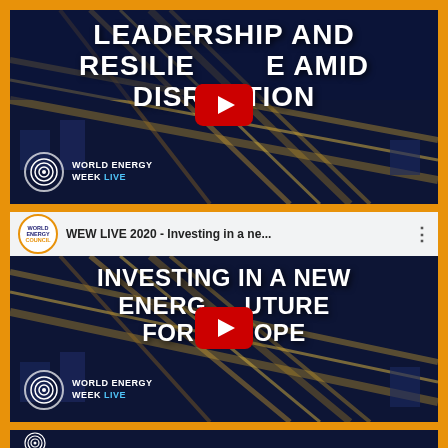[Figure (screenshot): YouTube video thumbnail: 'Leadership and Resilience Amid Disruption' - World Energy Week Live. Dark aerial city background with traffic light streaks, large white bold text, YouTube play button overlay, World Energy Week Live logo at bottom left.]
[Figure (screenshot): YouTube video thumbnail: 'WEW LIVE 2020 - Investing in a ne...' - Investing in a New Energy Future for Europe. White top bar with World Energy Council badge and title. Dark aerial city background, large white bold text, YouTube play button overlay, World Energy Week Live logo at bottom left.]
[Figure (screenshot): Partial third YouTube video thumbnail, cut off at bottom of page. Shows partial World Energy Council logo.]